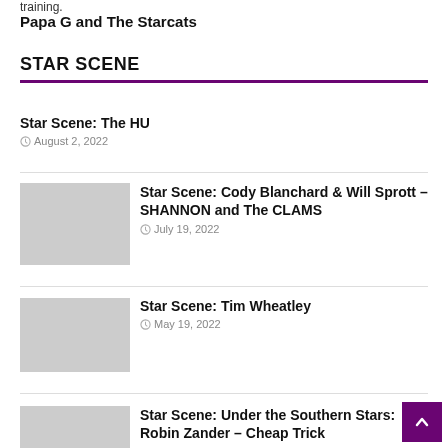training.
Papa G and The Starcats
STAR SCENE
Star Scene: The HU
August 2, 2022
Star Scene: Cody Blanchard & Will Sprott – SHANNON and The CLAMS
July 19, 2022
Star Scene: Tim Wheatley
May 19, 2022
Star Scene: Under the Southern Stars: Robin Zander – Cheap Trick